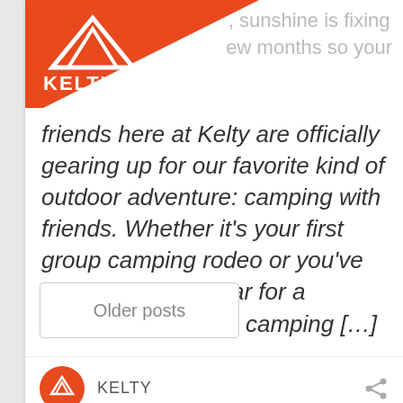[Figure (logo): Kelty brand logo - white mountain/triangle mark on orange background with KELTY text]
, sunshine is fixing ew months so your
friends here at Kelty are officially gearing up for our favorite kind of outdoor adventure: camping with friends. Whether it’s your first group camping rodeo or you’ve done this every year for a decade, planning a camping […]
[Figure (logo): Kelty circular orange logo icon]
KELTY
Older posts